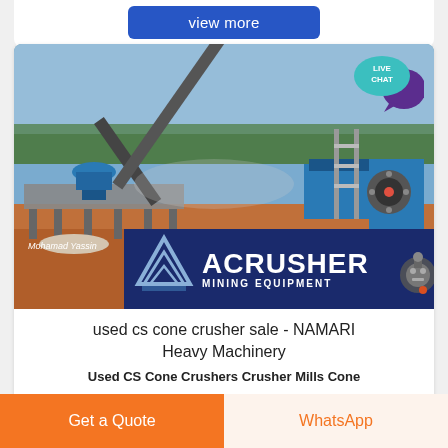[Figure (other): Blue 'view more' button at top of page]
[Figure (photo): Mining equipment yard with conveyor belts, cone crushers and jaw crusher; ACRUSHER MINING EQUIPMENT banner overlay; watermark 'Mohamad Yassin'; LIVE CHAT bubble top right]
used cs cone crusher sale - NAMARI Heavy Machinery
Used CS Cone Crushers Crusher Mills Cone Crusher Jaw...used CS cone crusher 5½ft
[Figure (other): Bottom CTA bar with 'Get a Quote' orange button and 'WhatsApp' button]